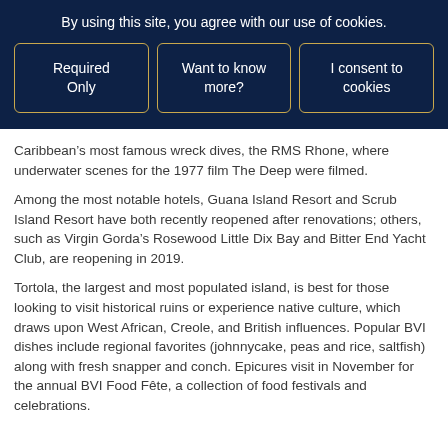By using this site, you agree with our use of cookies.
Required Only
Want to know more?
I consent to cookies
Caribbean’s most famous wreck dives, the RMS Rhone, where underwater scenes for the 1977 film The Deep were filmed.
Among the most notable hotels, Guana Island Resort and Scrub Island Resort have both recently reopened after renovations; others, such as Virgin Gorda’s Rosewood Little Dix Bay and Bitter End Yacht Club, are reopening in 2019.
Tortola, the largest and most populated island, is best for those looking to visit historical ruins or experience native culture, which draws upon West African, Creole, and British influences. Popular BVI dishes include regional favorites (johnnycake, peas and rice, saltfish) along with fresh snapper and conch. Epicures visit in November for the annual BVI Food Fête, a collection of food festivals and celebrations.